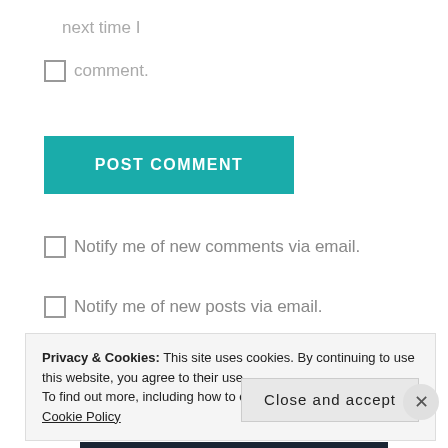next time I
comment.
POST COMMENT
Notify me of new comments via email.
Notify me of new posts via email.
This site uses Akismet to reduce spam. Learn how your comment data is processed.
Privacy & Cookies: This site uses cookies. By continuing to use this website, you agree to their use. To find out more, including how to control cookies, see here: Cookie Policy
Close and accept